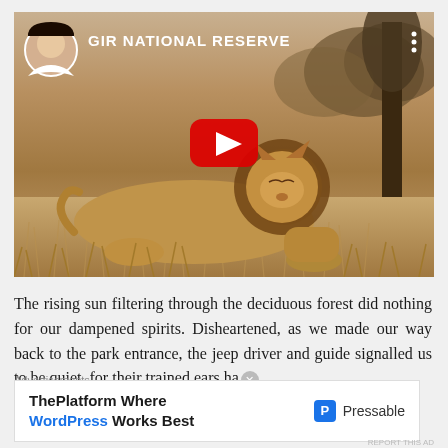[Figure (screenshot): YouTube video thumbnail showing a lion resting in Gir National Reserve. Features a circular avatar photo of a woman in the top-left corner, the title 'GIR NATIONAL RESERVE' in white text, a red YouTube play button in the center, three vertical dots menu icon in the top-right, and a lion lying on dry grassland with trees in the background.]
The rising sun filtering through the deciduous forest did nothing for our dampened spirits. Disheartened, as we made our way back to the park entrance, the jeep driver and guide signalled us to be quiet, for their trained ears ha
Advertisements
[Figure (screenshot): Advertisement banner for Pressable WordPress hosting. Left side shows bold text 'ThePlatform Where WordPress Works Best' with 'WordPress' in blue. Right side shows the Pressable logo (blue square with P) and the text 'Pressable'.]